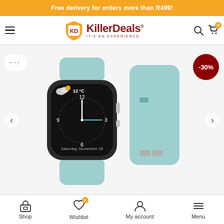Free delivery for orders more than R499!
[Figure (logo): KillerDeals logo with KD shield and tagline IT'S AN EXPERIENCE]
[Figure (photo): Apple Watch with light blue/mint silicone band shown alongside the detached band. Watch face shows 12 degrees C, Saturday November 18. Red -30% discount badge in top right corner.]
Shop | Wishlist | My account | Menu